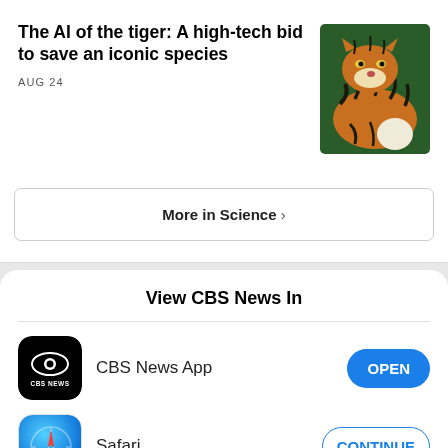[Figure (photo): Partial view of an old document/map image in the top right corner]
The AI of the tiger: A high-tech bid to save an iconic species
AUG 24
[Figure (photo): Two tigers, one on top of the other, photographed in the wild]
More in Science ›
View CBS News In
[Figure (logo): CBS News app icon — black background with white CBS eye logo and CBS NEWS text]
CBS News App
OPEN
[Figure (logo): Safari browser icon — blue circle with compass needle]
Safari
CONTINUE